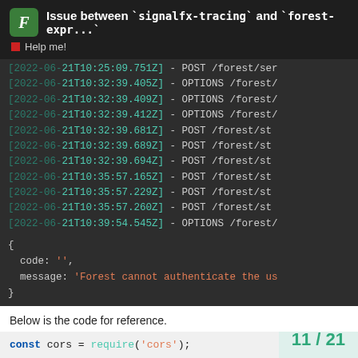Issue between `signalfx-tracing` and `forest-expr... | Help me!
[2022-06-21T10:25:09.751Z] - POST /forest/ser
[2022-06-21T10:32:39.405Z] - OPTIONS /forest/
[2022-06-21T10:32:39.409Z] - OPTIONS /forest/
[2022-06-21T10:32:39.412Z] - OPTIONS /forest/
[2022-06-21T10:32:39.681Z] - POST /forest/st
[2022-06-21T10:32:39.689Z] - POST /forest/st
[2022-06-21T10:32:39.694Z] - POST /forest/st
[2022-06-21T10:35:57.165Z] - POST /forest/st
[2022-06-21T10:35:57.229Z] - POST /forest/st
[2022-06-21T10:35:57.260Z] - POST /forest/st
[2022-06-21T10:39:54.545Z] - OPTIONS /forest/
{
  code: '',
  message: 'Forest cannot authenticate the us
}
Below is the code for reference.
const cors = require('cors');
11 / 21